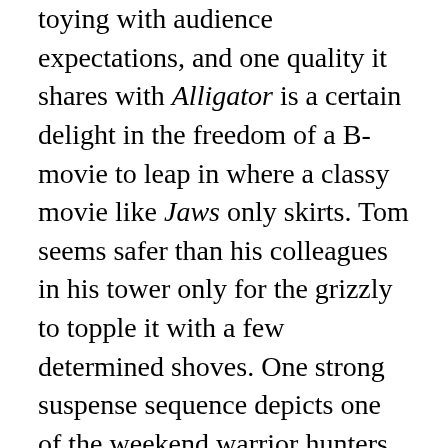toying with audience expectations, and one quality it shares with Alligator is a certain delight in the freedom of a B-movie to leap in where a classy movie like Jaws only skirts. Tom seems safer than his colleagues in his tower only for the grizzly to topple it with a few determined shoves. One strong suspense sequence depicts one of the weekend warrior hunters (David Holt), tramping alone through the woods only to encounter the bear and realise he has no chance of bringing it down. He flees the pursuing monster with increasing desperation and frantic gymnastics. Luckily, he manages to plunge into a river and be washed away to safety.